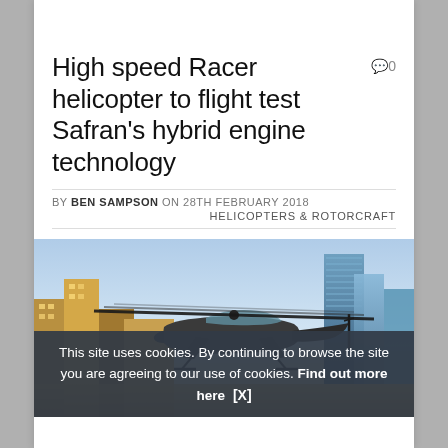High speed Racer helicopter to flight test Safran's hybrid engine technology
BY BEN SAMPSON ON 28TH FEBRUARY 2018
HELICOPTERS & ROTORCRAFT
[Figure (photo): A Racer helicopter flying over a city skyline, with rotor blades in motion and tall skyscrapers in the background. A cookie consent banner overlays the bottom of the image reading: This site uses cookies. By continuing to browse the site you are agreeing to our use of cookies. Find out more here [X]]